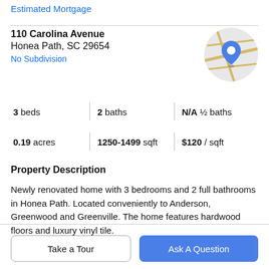Estimated Mortgage
110 Carolina Avenue
Honea Path, SC 29654
No Subdivision
[Figure (map): Circular map thumbnail showing a street map with a blue location pin marker indicating 110 Carolina Avenue, Honea Path, SC.]
| 3 beds | 2 baths | N/A ½ baths |
| 0.19 acres | 1250-1499 sqft | $120 / sqft |
Property Description
Newly renovated home with 3 bedrooms and 2 full bathrooms in Honea Path. Located conveniently to Anderson, Greenwood and Greenville. The home features hardwood floors and luxury vinyl tile.
Take a Tour
Ask A Question